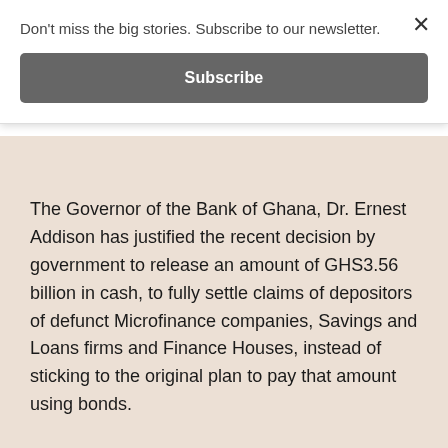Don't miss the big stories. Subscribe to our newsletter.
Subscribe
✕
The Governor of the Bank of Ghana, Dr. Ernest Addison has justified the recent decision by government to release an amount of GHS3.56 billion in cash, to fully settle claims of depositors of defunct Microfinance companies, Savings and Loans firms and Finance Houses, instead of sticking to the original plan to pay that amount using bonds.